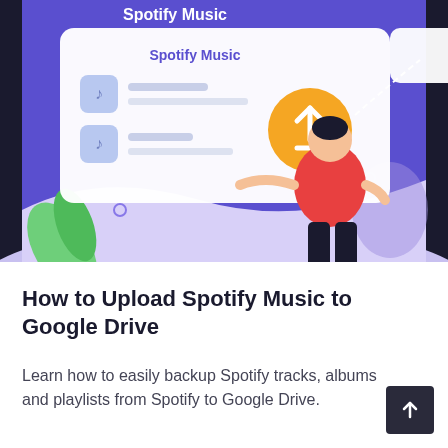[Figure (illustration): Colorful illustration showing a person in a red shirt standing and pointing at a UI panel labeled 'Spotify Music' with music track items and an upload/share icon (orange circle with upward arrow), on a purple background with decorative shapes and a green leaf.]
How to Upload Spotify Music to Google Drive
Learn how to easily backup Spotify tracks, albums and playlists from Spotify to Google Drive.